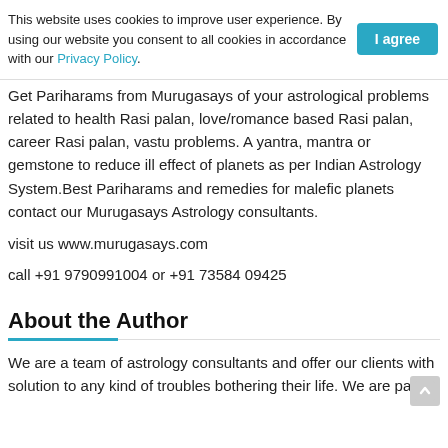This website uses cookies to improve user experience. By using our website you consent to all cookies in accordance with our Privacy Policy.   I agree
Get Pariharams from Murugasays of your astrological problems related to health Rasi palan, love/romance based Rasi palan, career Rasi palan, vastu problems. A yantra, mantra or gemstone to reduce ill effect of planets as per Indian Astrology System.Best Pariharams and remedies for malefic planets contact our Murugasays Astrology consultants.
visit us www.murugasays.com
call +91 9790991004 or +91 73584 09425
About the Author
We are a team of astrology consultants and offer our clients with solution to any kind of troubles bothering their life. We are paired